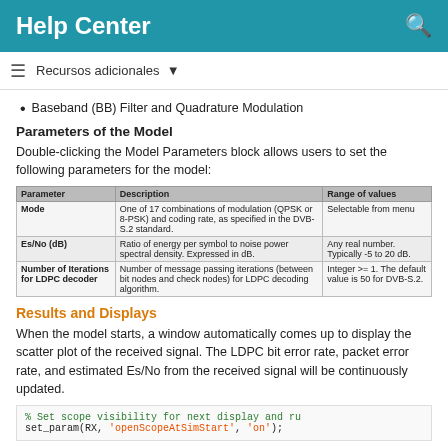Help Center
Recursos adicionales
Baseband (BB) Filter and Quadrature Modulation
Parameters of the Model
Double-clicking the Model Parameters block allows users to set the following parameters for the model:
| Parameter | Description | Range of values |
| --- | --- | --- |
| Mode | One of 17 combinations of modulation (QPSK or 8-PSK) and coding rate, as specified in the DVB-S.2 standard. | Selectable from menu |
| Es/No (dB) | Ratio of energy per symbol to noise power spectral density. Expressed in dB. | Any real number. Typically -5 to 20 dB. |
| Number of Iterations for LDPC decoder | Number of message passing iterations (between bit nodes and check nodes) for LDPC decoding algorithm. | Integer >= 1. The default value is 50 for DVB-S.2. |
Results and Displays
When the model starts, a window automatically comes up to display the scatter plot of the received signal. The LDPC bit error rate, packet error rate, and estimated Es/No from the received signal will be continuously updated.
% Set scope visibility for next display and ru
set_param(RX, 'openScopeAtSimStart', 'on');